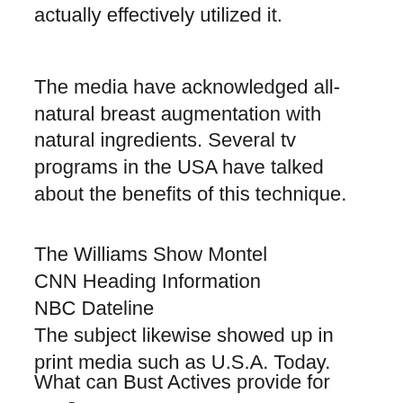actually effectively utilized it.
The media have acknowledged all-natural breast augmentation with natural ingredients. Several tv programs in the USA have talked about the benefits of this technique.
The Williams Show Montel
CNN Heading Information
NBC Dateline
The subject likewise showed up in print media such as U.S.A. Today.
What can Bust Actives provide for you?
all-natural breast augmentation benefits. The results of Breast Actives will be impressive